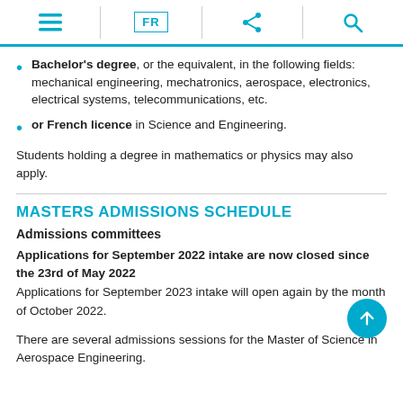≡  FR  share  search
Bachelor's degree, or the equivalent, in the following fields: mechanical engineering, mechatronics, aerospace, electronics, electrical systems, telecommunications, etc.
or French licence in Science and Engineering.
Students holding a degree in mathematics or physics may also apply.
MASTERS ADMISSIONS SCHEDULE
Admissions committees
Applications for September 2022 intake are now closed since the 23rd of May 2022
Applications for September 2023 intake will open again by the month of October 2022.
There are several admissions sessions for the Master of Science in Aerospace Engineering.